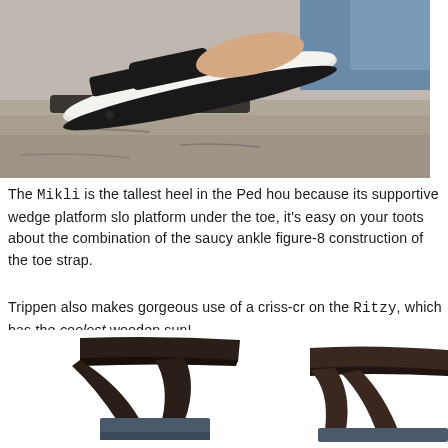[Figure (photo): Close-up photo of a sandal with dark straps on rocky surface near water]
The Mikli is the tallest heel in the Ped hou because its supportive wedge platform slo platform under the toe, it's easy on your toots about the combination of the saucy ankle figure-8 construction of the toe strap.
Trippen also makes gorgeous use of a criss-cr on the Ritzy, which has the coolest wooden sun!
[Figure (photo): Close-up photo of dark brown leather sandal straps, showing two sandals side by side]